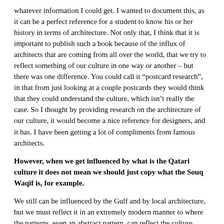whatever information I could get. I wanted to document this, as it can be a perfect reference for a student to know his or her history in terms of architecture. Not only that, I think that it is important to publish such a book because of the influx of architects that are coming from all over the world, that we try to reflect something of our culture in one way or another – but there was one difference. You could call it “postcard research”, in that from just looking at a couple postcards they would think that they could understand the culture, which isn’t really the case. So I thought by providing research on the architecture of our culture, it would become a nice reference for designers, and it has. I have been getting a lot of compliments from famous architects.
However, when we get influenced by what is the Qatari culture it does not mean we should just copy what the Souq Waqif is, for example.
We still can be influenced by the Gulf and by local architecture, but we must reflect it in an extremely modern manner to where the patterns, even an abstract pattern, can reflect the culture rather than the straightforward elements of architecture.
Though AEB has grown to a few hundred employees I have never lost the joy of design.
We have about four hundred and sixty employees. We will